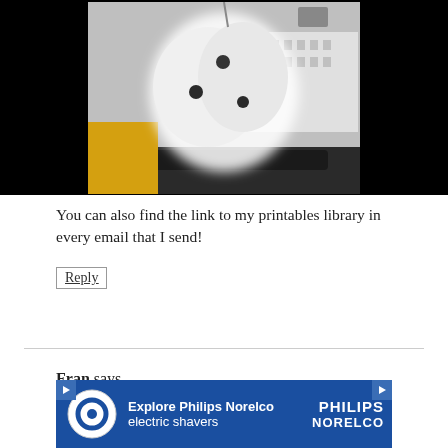[Figure (photo): Photo of white fuzzy dice hanging in a car, blurry close-up shot, black background around centered image]
You can also find the link to my printables library in every email that I send!
Reply
Fran says
November 20, 2020 at 11:38 pm
[Figure (infographic): Advertisement banner: Explore Philips Norelco electric shavers, blue background with Philips Norelco logo]